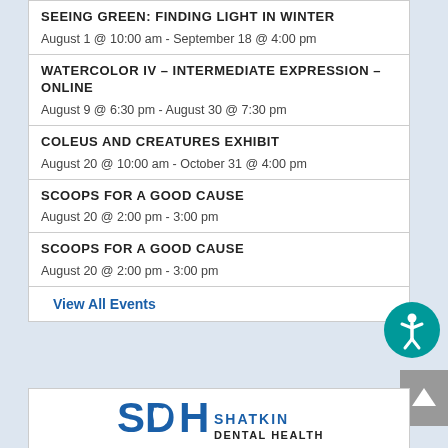SEEING GREEN: FINDING LIGHT IN WINTER
August 1 @ 10:00 am - September 18 @ 4:00 pm
WATERCOLOR IV – INTERMEDIATE EXPRESSION – ONLINE
August 9 @ 6:30 pm - August 30 @ 7:30 pm
COLEUS AND CREATURES EXHIBIT
August 20 @ 10:00 am - October 31 @ 4:00 pm
SCOOPS FOR A GOOD CAUSE
August 20 @ 2:00 pm - 3:00 pm
SCOOPS FOR A GOOD CAUSE
August 20 @ 2:00 pm - 3:00 pm
View All Events
[Figure (logo): SDH Shatkin Dental Health logo with tooth icon in the letter D]